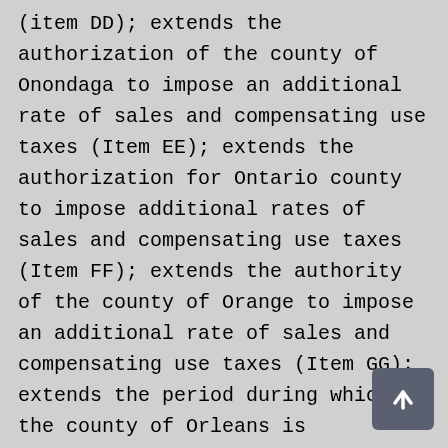(item DD); extends the authorization of the county of Onondaga to impose an additional rate of sales and compensating use taxes (Item EE); extends the authorization for Ontario county to impose additional rates of sales and compensating use taxes (Item FF); extends the authority of the county of Orange to impose an additional rate of sales and compensating use taxes (Item GG); extends the period during which the county of Orleans is authorized to impose additional rates of sales and compensating use taxes (Item HH); extends authorization for an additional one percent sales and compensating use tax in the county of Oswego (Item II); extends the authorization for